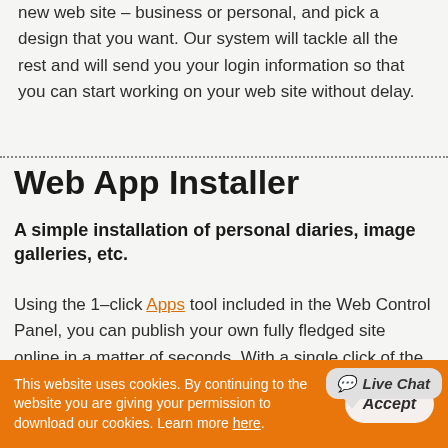new web site – business or personal, and pick a design that you want. Our system will tackle all the rest and will send you your login information so that you can start working on your web site without delay.
Web App Installer
A simple installation of personal diaries, image galleries, etc.
Using the 1–click Apps tool included in the Web Control Panel, you can publish your own fully fledged site online in a matter of seconds. With a single click of the mouse, your weblog, forum, online image gallery or online shopping
This website uses cookies. By continuing to the website you are giving your permission to download our cookies. Learn more here.